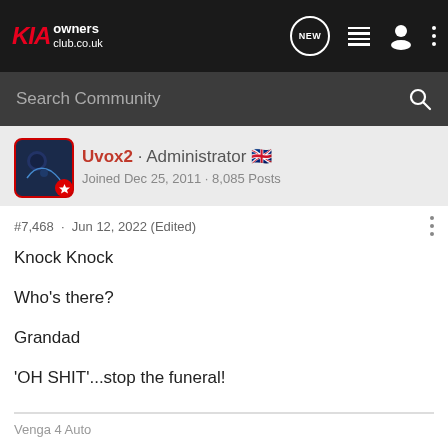KIA owners club.co.uk
Search Community
Uvox2 · Administrator 🇬🇧
Joined Dec 25, 2011 · 8,085 Posts
#7,468 · Jun 12, 2022 (Edited)
Knock Knock
Who's there?
Grandad
'OH SHIT'...stop the funeral!
Venga 4 Auto